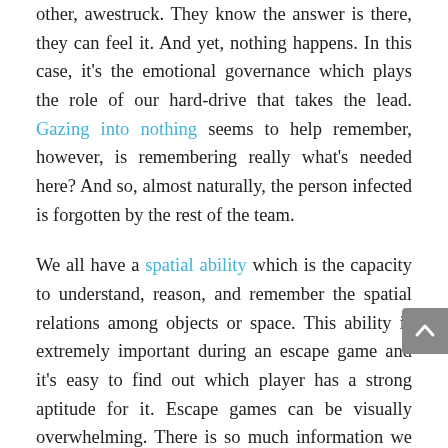other, awestruck. They know the answer is there, they can feel it. And yet, nothing happens. In this case, it's the emotional governance which plays the role of our hard-drive that takes the lead. Gazing into nothing seems to help remember, however, is remembering really what's needed here? And so, almost naturally, the person infected is forgotten by the rest of the team.

We all have a spatial ability which is the capacity to understand, reason, and remember the spatial relations among objects or space. This ability is extremely important during an escape game and it's easy to find out which player has a strong aptitude for it. Escape games can be visually overwhelming. There is so much information we don't know where to start. This can lead low spatial ability persons to overload